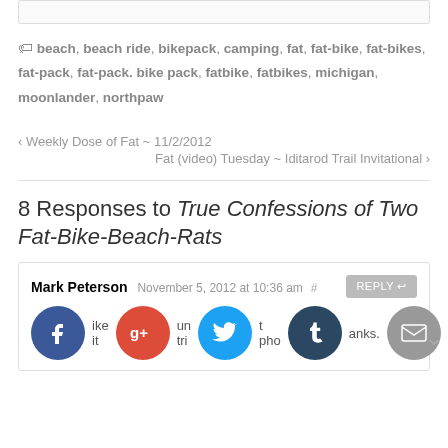beach, beach ride, bikepack, camping, fat, fat-bike, fat-bikes, fat-pack, fat-pack. bike pack, fatbike, fatbikes, michigan, moonlander, northpaw
‹ Weekly Dose of Fat ~ 11/2/2012
Fat (video) Tuesday ~ Iditarod Trail Invitational ›
8 Responses to True Confessions of Two Fat-Bike-Beach-Rats
Mark Peterson November 5, 2012 at 10:36 am #  REPLY
[Figure (other): Social sharing icons: Facebook, Google+, Twitter, Tumblr, Email circles with partial comment text visible]
ike it  un tri  t pho  anks.